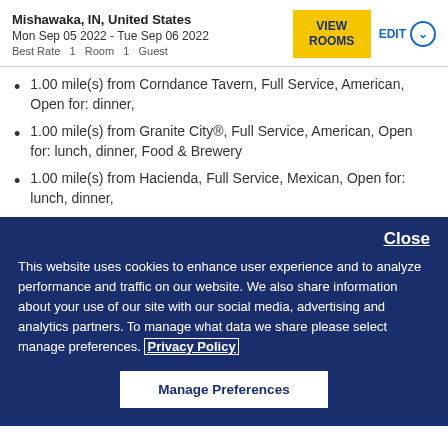Mishawaka, IN, United States
Mon Sep 05 2022 - Tue Sep 06 2022
Best Rate  1 Room  1 Guest
1.00 mile(s) from Corndance Tavern, Full Service, American, Open for: dinner,
1.00 mile(s) from Granite City®, Full Service, American, Open for: lunch, dinner, Food & Brewery
1.00 mile(s) from Hacienda, Full Service, Mexican, Open for: lunch, dinner,
Close
This website uses cookies to enhance user experience and to analyze performance and traffic on our website. We also share information about your use of our site with our social media, advertising and analytics partners. To manage what data we share please select manage preferences. Privacy Policy
Manage Preferences